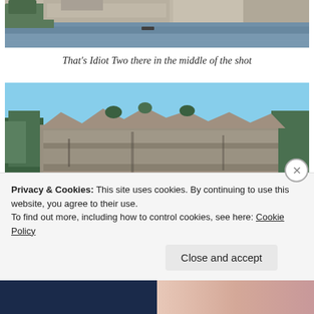[Figure (photo): Top portion of a landscape photo showing rocky cliffs, trees, and a river/lake with a small boat in the middle of the shot]
That's Idiot Two there in the middle of the shot
[Figure (photo): Large layered rock formations (cliffs) with conifer trees visible on top and sides, blue sky above]
Privacy & Cookies: This site uses cookies. By continuing to use this website, you agree to their use.
To find out more, including how to control cookies, see here: Cookie Policy